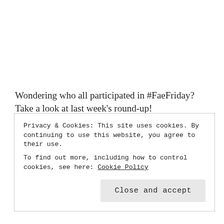Wondering who all participated in #FaeFriday? Take a look at last week's round-up!
Book, Blog & Candle
The Caffeinated Book Addict
Privacy & Cookies: This site uses cookies. By continuing to use this website, you agree to their use.
To find out more, including how to control cookies, see here: Cookie Policy
Close and accept